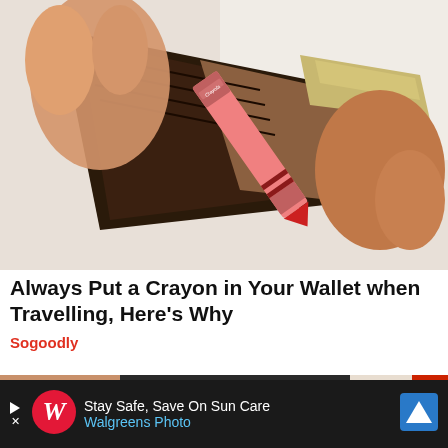[Figure (photo): Hands holding open a dark leather wallet with a pink Crayola crayon inside along with what appears to be currency]
Always Put a Crayon in Your Wallet when Travelling, Here's Why
Sogoodly
[Figure (photo): Partial image of a person in dark clothing, partially obscured]
[Figure (screenshot): Advertisement banner: Stay Safe, Save On Sun Care - Walgreens Photo, with Walgreens W logo and a blue navigation icon]